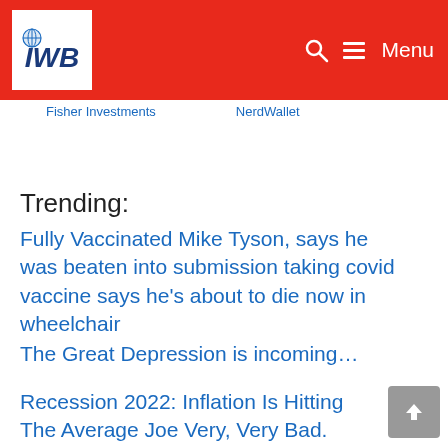IWB — Menu
Fisher Investments    NerdWallet
Trending:
Fully Vaccinated Mike Tyson, says he was beaten into submission taking covid vaccine says he’s about to die now in wheelchair
The Great Depression is incoming…
Recession 2022: Inflation Is Hitting The Average Joe Very, Very Bad. Personal Savings In The US